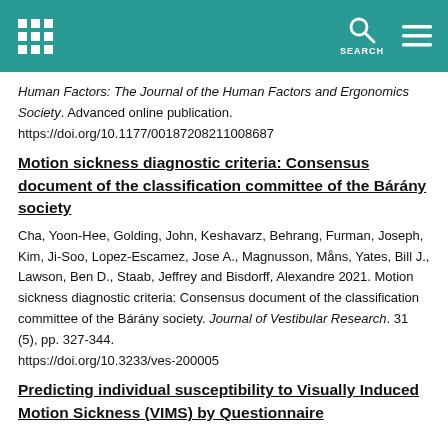Header bar with grid icon, search icon, and hamburger menu
Human Factors: The Journal of the Human Factors and Ergonomics Society. Advanced online publication. https://doi.org/10.1177/00187208211008687
Motion sickness diagnostic criteria: Consensus document of the classification committee of the Bárány society
Cha, Yoon-Hee, Golding, John, Keshavarz, Behrang, Furman, Joseph, Kim, Ji-Soo, Lopez-Escamez, Jose A., Magnusson, Måns, Yates, Bill J., Lawson, Ben D., Staab, Jeffrey and Bisdorff, Alexandre 2021. Motion sickness diagnostic criteria: Consensus document of the classification committee of the Bárány society. Journal of Vestibular Research. 31 (5), pp. 327-344. https://doi.org/10.3233/ves-200005
Predicting individual susceptibility to Visually Induced Motion Sickness (VIMS) by Questionnaire